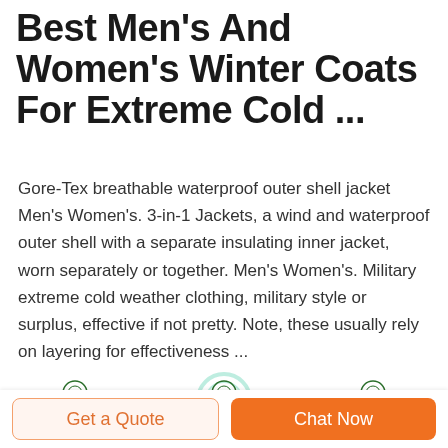Best Men's And Women's Winter Coats For Extreme Cold ...
Gore-Tex breathable waterproof outer shell jacket Men's Women's. 3-in-1 Jackets, a wind and waterproof outer shell with a separate insulating inner jacket, worn separately or together. Men's Women's. Military extreme cold weather clothing, military style or surplus, effective if not pretty. Note, these usually rely on layering for effectiveness ...
[Figure (photo): Three Deekon brand military product images: green beret hat, camouflage jacket/coat, and military helmet]
Get a Quote
Chat Now